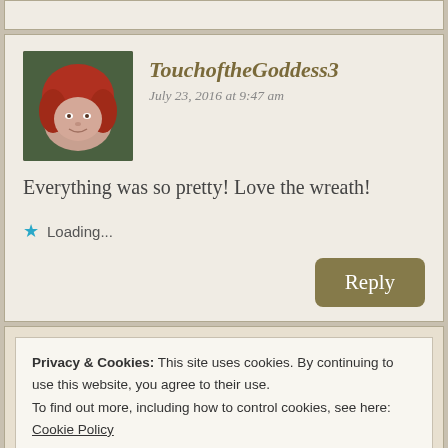[Figure (screenshot): Top partial comment card, partially visible at top of page]
TouchoftheGoddess3
July 23, 2016 at 9:47 am
Everything was so pretty! Love the wreath!
Loading...
Reply
Privacy & Cookies: This site uses cookies. By continuing to use this website, you agree to their use.
To find out more, including how to control cookies, see here:
Cookie Policy
Close and accept
Loading...